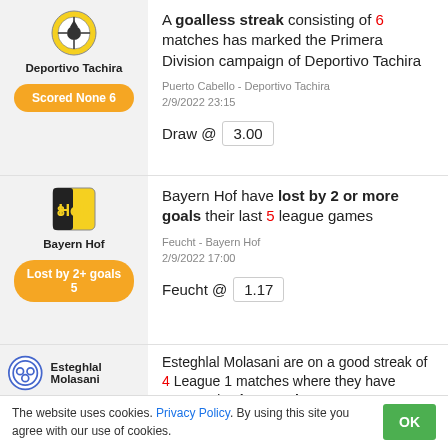Deportivo Tachira
Scored None 6
A goalless streak consisting of 6 matches has marked the Primera Division campaign of Deportivo Tachira
Puerto Cabello - Deportivo Tachira
2/9/2022 23:15
Draw @ 3.00
Bayern Hof
Lost by 2+ goals 5
Bayern Hof have lost by 2 or more goals their last 5 league games
Feucht - Bayern Hof
2/9/2022 17:00
Feucht @ 1.17
Esteghlal Molasani
Esteghlal Molasani are on a good streak of 4 League 1 matches where they have managed to keep a clean
The website uses cookies. Privacy Policy. By using this site you agree with our use of cookies.